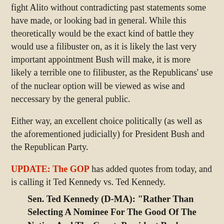fight Alito without contradicting past statements some have made, or looking bad in general. While this theoretically would be the exact kind of battle they would use a filibuster on, as it is likely the last very important appointment Bush will make, it is more likely a terrible one to filibuster, as the Republicans' use of the nuclear option will be viewed as wise and neccessary by the general public.
Either way, an excellent choice politically (as well as the aforementioned judicially) for President Bush and the Republican Party.
UPDATE: The GOP has added quotes from today, and is calling it Ted Kennedy vs. Ted Kennedy.
Sen. Ted Kennedy (D-MA): "Rather Than Selecting A Nominee For The Good Of The Nation And The Court, President Bush Has Picked A Nominee Whom He Hopes Will Stop The Massive Hemorrhaging Of Support On His Right Wing. This Is A Nomination Based On Weakness, Not On Strength." (Sen. Ted